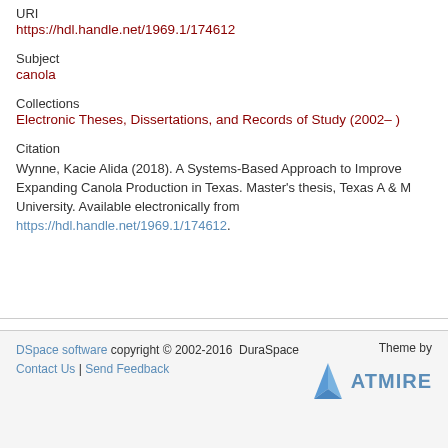URI
https://hdl.handle.net/1969.1/174612
Subject
canola
Collections
Electronic Theses, Dissertations, and Records of Study (2002– )
Citation
Wynne, Kacie Alida (2018). A Systems-Based Approach to Improve Expanding Canola Production in Texas. Master's thesis, Texas A & M University. Available electronically from https://hdl.handle.net/1969.1/174612.
DSpace software copyright © 2002-2016  DuraSpace | Contact Us | Send Feedback | Theme by ATMIRE